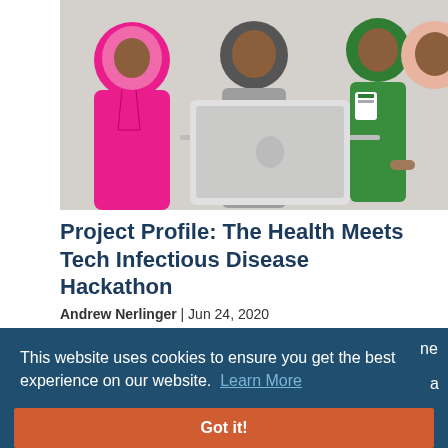[Figure (photo): Three people looking at a laptop computer together; one person in a bright pink hijab on the left, one person in a grey shirt in the middle, and one person in a green shirt with a badge and a person in a pink hijab on the right.]
Project Profile: The Health Meets Tech Infectious Disease Hackathon
Andrew Nerlinger | Jun 24, 2020
This website uses cookies to ensure you get the best experience on our website. Learn More
Got it!